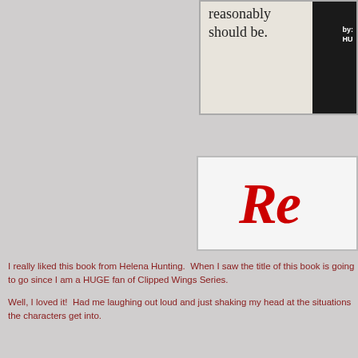[Figure (illustration): Partial book cover showing text 'reasonably should be.' with a dark sidebar showing 'by: HU']
[Figure (illustration): Review banner with large red cursive 'Re' text on white background with gray border]
I really liked this book from Helena Hunting.  When I saw the title of this book is going to go since I am a HUGE fan of Clipped Wings Series.
Well, I loved it!  Had me laughing out loud and just shaking my head at the situations the characters get into.